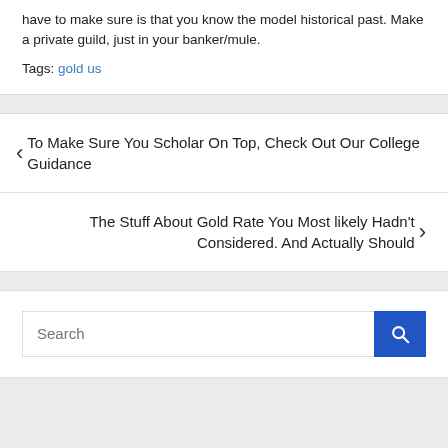have to make sure is that you know the model historical past. Make a private guild, just in your banker/mule.
Tags: gold us
‹ To Make Sure You Scholar On Top, Check Out Our College Guidance
The Stuff About Gold Rate You Most likely Hadn't Considered. And Actually Should ›